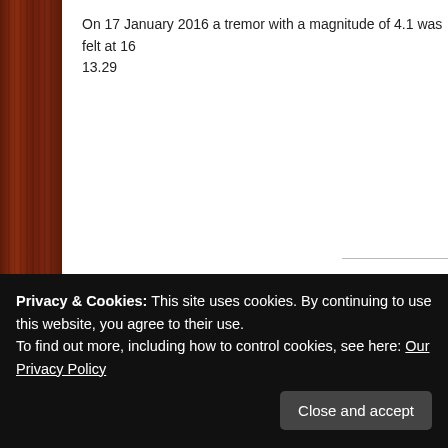On 17 January 2016 a tremor with a magnitude of 4.1 was felt at 16 13.29
Seismic Monitoring & Research
HOME
Share this:
Privacy & Cookies: This site uses cookies. By continuing to use this website, you agree to their use. To find out more, including how to control cookies, see here: Our Privacy Policy
Close and accept